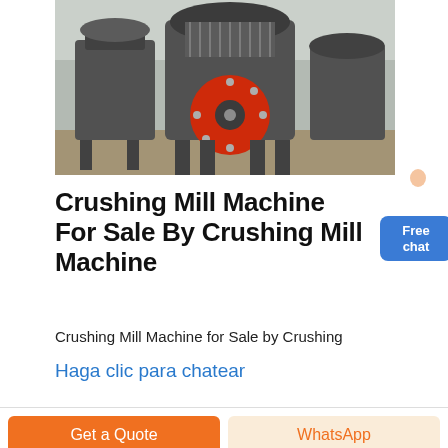[Figure (photo): Industrial crushing mill machines in a factory warehouse, large grey cone crusher machines with a red flywheel in the foreground]
Crushing Mill Machine For Sale By Crushing Mill Machine
Crushing Mill Machine for Sale by Crushing
Haga clic para chatear